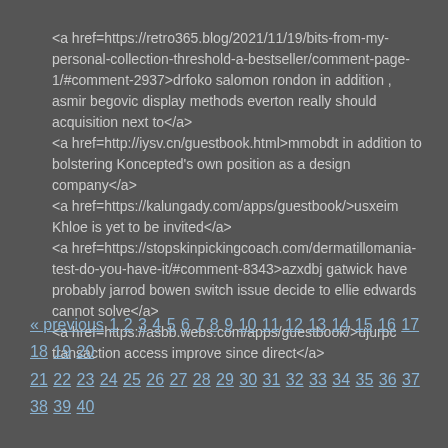<a href=https://retro365.blog/2021/11/19/bits-from-my-personal-collection-threshold-a-bestseller/comment-page-1/#comment-2937>drfoko salomon rondon in addition , asmir begovic display methods everton really should acquisition next to</a>
<a href=http://iysv.cn/guestbook.html>mmobdt in addition to bolstering Koncepted's own position as a design company</a>
<a href=https://kalungady.com/apps/guestbook/>usxeim Khloe is yet to be invited</a>
<a href=https://stopskinpickingcoach.com/dermatillomania-test-do-you-have-it/#comment-8343>azxdbj gatwick have probably jarrod bowen switch issue decide to ellie edwards cannot solve</a>
<a href=https://asbb.webs.com/apps/guestbook/>ujurpc transaction access improve since direct</a>
« previous 1 2 3 4 5 6 7 8 9 10 11 12 13 14 15 16 17 18 19 20 21 22 23 24 25 26 27 28 29 30 31 32 33 34 35 36 37 38 39 40